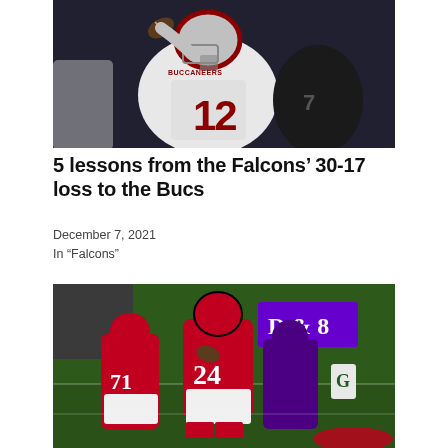[Figure (photo): Football player wearing Tampa Bay Buccaneers number 12 jersey (Tom Brady) throwing a pass during a game against the Atlanta Falcons]
5 lessons from the Falcons' 30-17 loss to the Bucs
December 7, 2021
In "Falcons"
[Figure (photo): Atlanta Falcons running back wearing number 24 jersey carrying the ball during a game against the Minnesota Vikings, with number 71 lineman blocking in the background]